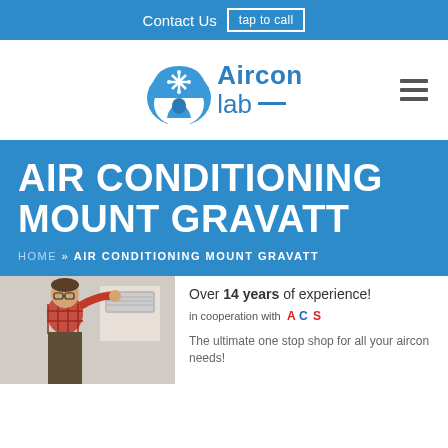Contact Us  tap to call
[Figure (logo): Aircon Lab logo with snowflake icon and arch shape in blue, text reads 'Aircon lab']
AIR CONDITIONING MOUNT GRAVATT
HOME » AIR CONDITIONING MOUNT GRAVATT
[Figure (photo): A male technician in a plaid shirt installing or servicing a wall-mounted air conditioning unit]
Over 14 years of experience!
in cooperation with ACS
The ultimate one stop shop for all your aircon needs!